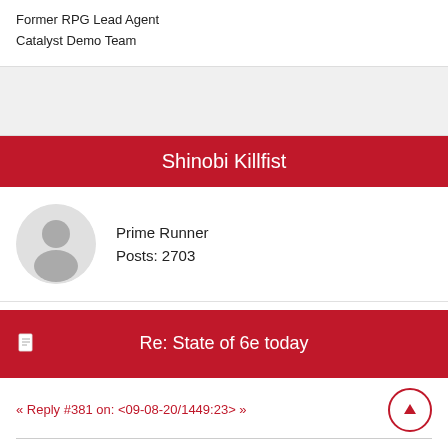Former RPG Lead Agent
Catalyst Demo Team
Shinobi Killfist
Prime Runner
Posts: 2703
Re: State of 6e today
« Reply #381 on: <09-08-20/1449:23> »
Quote from: tenchi2a on <09-08-20/0400:13>
Quote from: jim1701 on <09-03-20/1448:01>